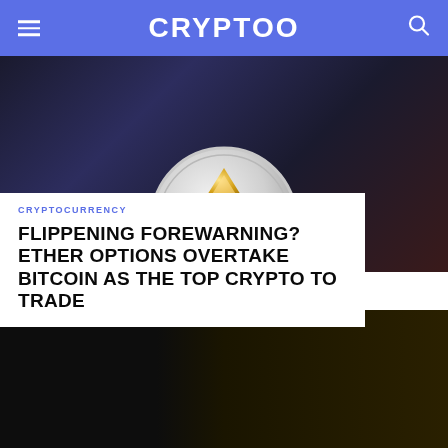CRYPTOO
[Figure (photo): Ethereum silver and gold coin held in fingers against dark background]
CRYPTOCURRENCY
FLIPPENING FOREWARNING? ETHER OPTIONS OVERTAKE BITCOIN AS THE TOP CRYPTO TO TRADE
[Figure (photo): Gold Bitcoin coin on dark background showing Bitcoin logo and peer-to-peer inscription]